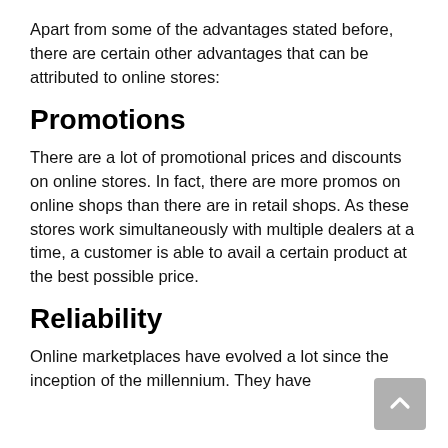Apart from some of the advantages stated before, there are certain other advantages that can be attributed to online stores:
Promotions
There are a lot of promotional prices and discounts on online stores. In fact, there are more promos on online shops than there are in retail shops. As these stores work simultaneously with multiple dealers at a time, a customer is able to avail a certain product at the best possible price.
Reliability
Online marketplaces have evolved a lot since the inception of the millennium. They have